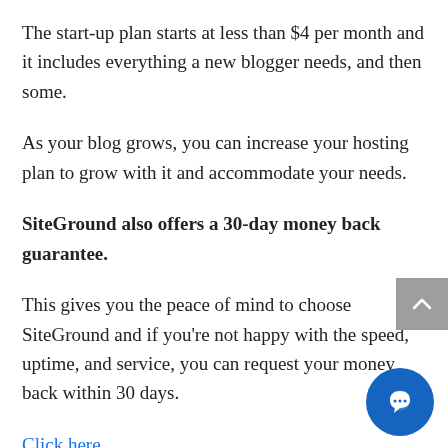The start-up plan starts at less than $4 per month and it includes everything a new blogger needs, and then some.
As your blog grows, you can increase your hosting plan to grow with it and accommodate your needs.
SiteGround also offers a 30-day money back guarantee.
This gives you the peace of mind to choose SiteGround and if you're not happy with the speed, uptime, and service, you can request your money back within 30 days.
Click here...